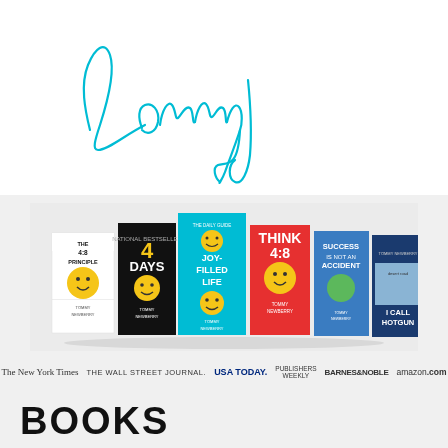[Figure (illustration): Cursive signature 'Tommy' in teal/cyan color on white background]
[Figure (photo): A row of Tommy Newberry book covers displayed on a light gray background. Books include: The 4:8 Principle, 40 Days to a Joy-Filled Life, The Daily Guide to Joy-Filled Life, Think 4:8, Success is Not an Accident, I Call Shotgun. All feature smiley face imagery.]
The New York Times  THE WALL STREET JOURNAL.  USA TODAY.  Publishers Weekly  BARNES&NOBLE  amazon.com
BOOKS